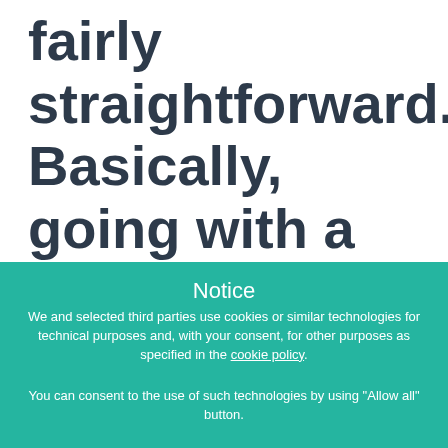fairly straightforward. Basically, going with a commercial SaaS provider gives you bounded but
Notice
We and selected third parties use cookies or similar technologies for technical purposes and, with your consent, for other purposes as specified in the cookie policy.
You can consent to the use of such technologies by using "Allow all" button.
Learn more and customize
Allow all
Deny all